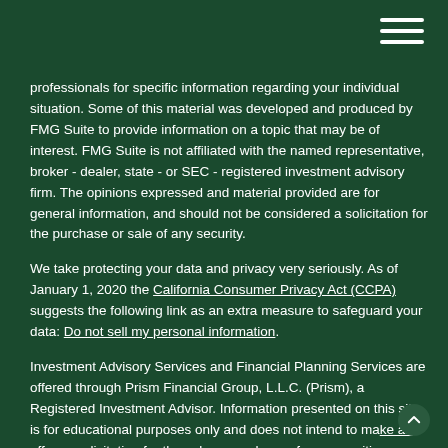[Figure (other): Hamburger menu icon (three horizontal white lines) in the top-right corner]
professionals for specific information regarding your individual situation. Some of this material was developed and produced by FMG Suite to provide information on a topic that may be of interest. FMG Suite is not affiliated with the named representative, broker - dealer, state - or SEC - registered investment advisory firm. The opinions expressed and material provided are for general information, and should not be considered a solicitation for the purchase or sale of any security.
We take protecting your data and privacy very seriously. As of January 1, 2020 the California Consumer Privacy Act (CCPA) suggests the following link as an extra measure to safeguard your data: Do not sell my personal information.
Investment Advisory Services and Financial Planning Services are offered through Prism Financial Group, L.L.C. (Prism), a Registered Investment Advisor. Information presented on this site is for educational purposes only and does not intend to make an offer or solicitation for the sale or purchase of any securities.